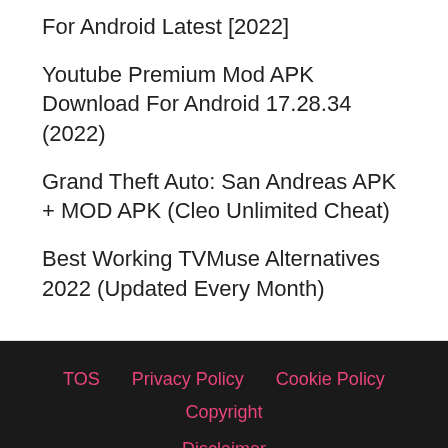For Android Latest [2022]
Youtube Premium Mod APK Download For Android 17.28.34 (2022)
Grand Theft Auto: San Andreas APK + MOD APK (Cleo Unlimited Cheat)
Best Working TVMuse Alternatives 2022 (Updated Every Month)
TOS   Privacy Policy   Cookie Policy   Copyright   Disclaimer   About Us: TheLeaker Web Services   Contact Us   Team
TheLeaker.com © 2020. TheLeaker is a part of the Indian Media Company TheLeaker Media. TheLeaker